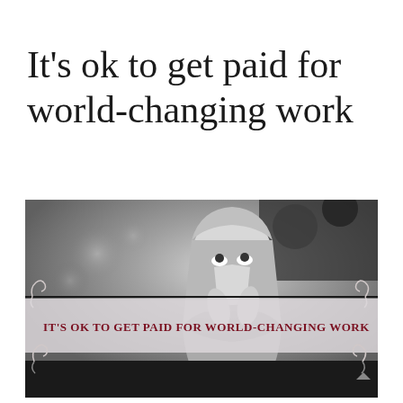It’s ok to get paid for world-changing work
[Figure (photo): Black and white photograph of a religious statue of the Virgin Mary looking upward with hands raised near face, with bokeh background of trees. Overlaid with a semi-transparent band containing the text 'IT’S OK TO GET PAID FOR WORLD-CHANGING WORK' in dark red bold uppercase serif font, and decorative scroll/curl ornaments on the top and bottom horizontal lines. A dark bottom bar completes the image.]